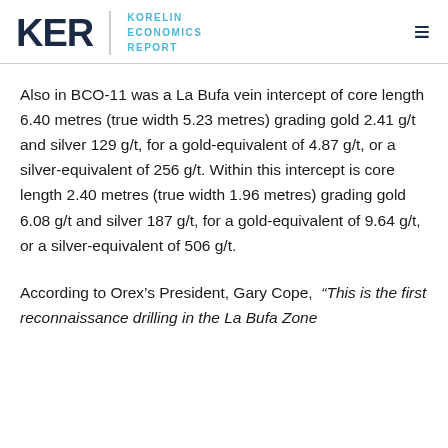KER KORELIN ECONOMICS REPORT
Also in BCO-11 was a La Bufa vein intercept of core length 6.40 metres (true width 5.23 metres) grading gold 2.41 g/t and silver 129 g/t, for a gold-equivalent of 4.87 g/t, or a silver-equivalent of 256 g/t. Within this intercept is core length 2.40 metres (true width 1.96 metres) grading gold 6.08 g/t and silver 187 g/t, for a gold-equivalent of 9.64 g/t, or a silver-equivalent of 506 g/t.
According to Orex’s President, Gary Cope, “This is the first reconnaissance drilling in the La Bufa Zone